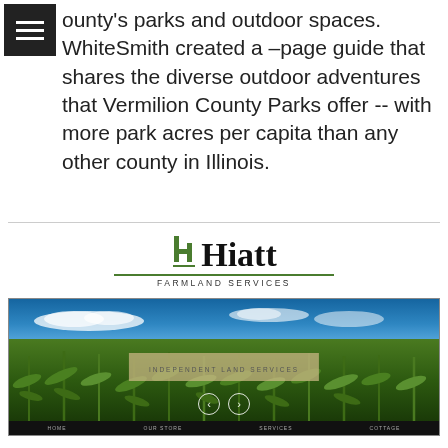and the Summer of 2022 to use the same for Vermilion County's parks and outdoor spaces. WhiteSmith created a –page guide that shares the diverse outdoor adventures that Vermilion County Parks offer -- with more park acres per capita than any other county in Illinois.
[Figure (screenshot): Screenshot of Hiatt Farmland Services website showing logo with green 'h' and bold 'Hiatt' text, a hero image of a corn field under blue sky with 'INDEPENDENT LAND SERVICES' banner overlay, navigation arrows, and a dark navigation bar with HOME, OUR STORE, SERVICES, COTTAGE links.]